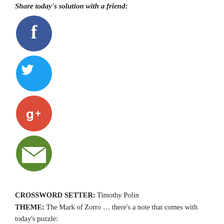Share today's solution with a friend:
[Figure (illustration): Four social media sharing icons stacked vertically: Facebook (dark blue circle with white 'f'), Twitter (light blue circle with white bird), Google+ (red circle with white 'g+'), Email (green circle with white envelope)]
CROSSWORD SETTER: Timothy Polin
THEME: The Mark of Zorro … there's a note that comes with today's puzzle: After completing this puzzle, connect nine appropriate letters in order to discover an image associated with 44-Down. So, today's themed answers refer to the character known as Zorro. When we draw lines through all of